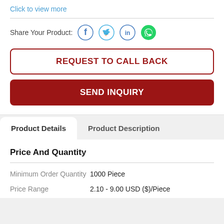Click to view more
Share Your Product:
REQUEST TO CALL BACK
SEND INQUIRY
Product Details
Product Description
Price And Quantity
|  |  |
| --- | --- |
| Minimum Order Quantity | 1000 Piece |
| Price Range | 2.10 - 9.00 USD ($)/Piece |